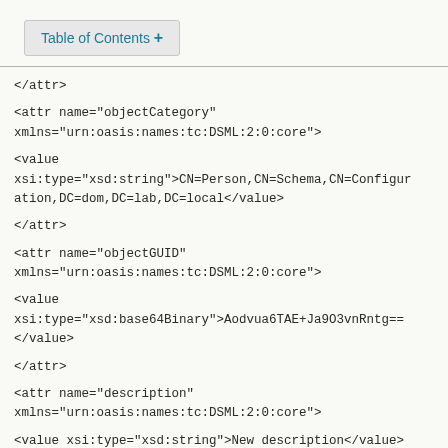Table of Contents +
</attr>
<attr name="objectCategory" xmlns="urn:oasis:names:tc:DSML:2:0:core">
<value xsi:type="xsd:string">CN=Person,CN=Schema,CN=Configuration,DC=dom,DC=lab,DC=local</value>
</attr>
<attr name="objectGUID" xmlns="urn:oasis:names:tc:DSML:2:0:core">
<value xsi:type="xsd:base64Binary">Aodvua6TAE+Ja9O3vnRntg==
</value>
</attr>
<attr name="description" xmlns="urn:oasis:names:tc:DSML:2:0:core">
<value xsi:type="xsd:string">New description</value>
</attr>